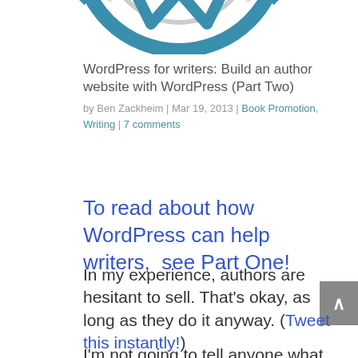[Figure (logo): Partial WordPress logo (blue circular icon, cropped at top of page)]
WordPress for writers: Build an author website with WordPress (Part Two)
by Ben Zackheim | Mar 19, 2013 | Book Promotion, Writing | 7 comments
To read about how WordPress can help writers,  see Part One!
In my experience, authors are hesitant to sell. That's okay, as long as they do it anyway. (Tweet this instantly!)
I'm not going to tell anyone what their